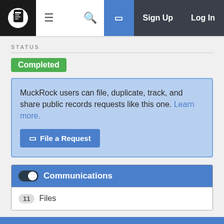MuckRock navigation bar with logo, hamburger menu, search, file a request button, Sign Up, Log In
STATUS
Completed
MuckRock users can file, duplicate, track, and share public records requests like this one. Learn more.
File a Request
Communications
11 Files
Filter communications
Collapse All